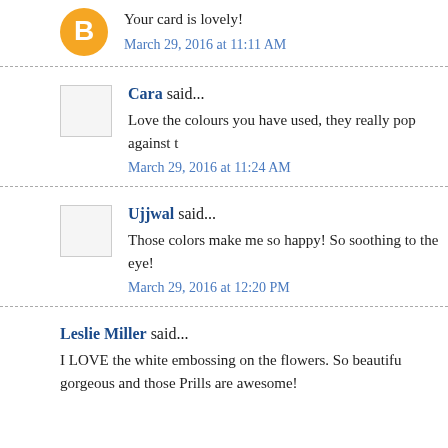Your card is lovely!
March 29, 2016 at 11:11 AM
Cara said...
Love the colours you have used, they really pop against t
March 29, 2016 at 11:24 AM
Ujjwal said...
Those colors make me so happy! So soothing to the eye!
March 29, 2016 at 12:20 PM
Leslie Miller said...
I LOVE the white embossing on the flowers. So beautifu gorgeous and those Prills are awesome!